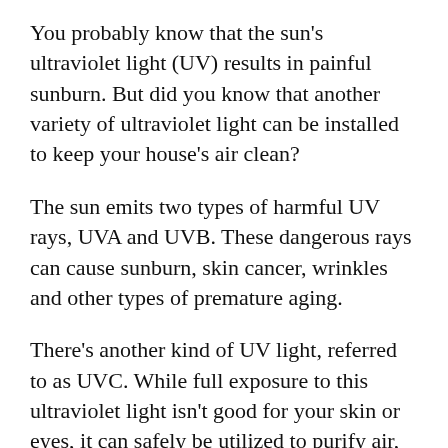You probably know that the sun's ultraviolet light (UV) results in painful sunburn. But did you know that another variety of ultraviolet light can be installed to keep your house's air clean?
The sun emits two types of harmful UV rays, UVA and UVB. These dangerous rays can cause sunburn, skin cancer, wrinkles and other types of premature aging.
There's another kind of UV light, referred to as UVC. While full exposure to this ultraviolet light isn't good for your skin or eyes, it can safely be utilized to purify air, water and certain surfaces.
Kapaun & Brown Inc. uses this light in several of our solutions to improve your air filtration in...